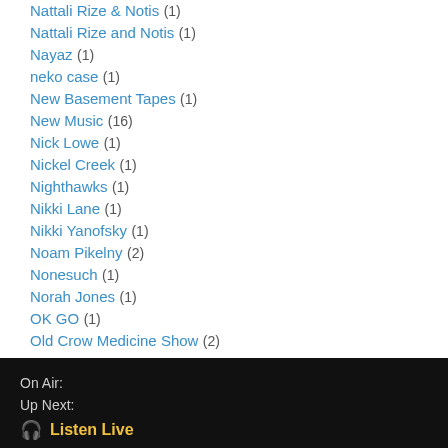Nattali Rize & Notis (1)
Nattali Rize and Notis (1)
Nayaz (1)
neko case (1)
New Basement Tapes (1)
New Music (16)
Nick Lowe (1)
Nickel Creek (1)
Nighthawks (1)
Nikki Lane (1)
Nikki Yanofsky (1)
Noam Pikelny (2)
Nonesuch (1)
Norah Jones (1)
OK GO (1)
Old Crow Medicine Show (2)
On Air:
Up Next:
🎧 Listen Live